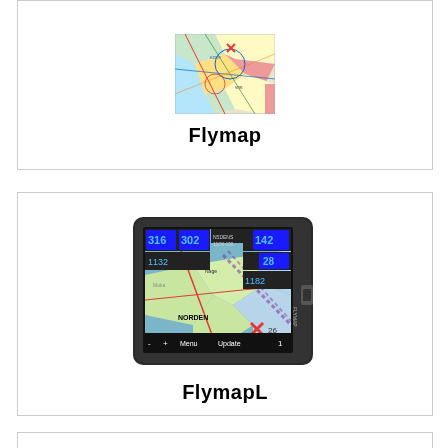[Figure (photo): Flymap aviation map display showing colorful aeronautical chart]
Flymap
[Figure (photo): FlymapL GPS navigation device showing aviation map on screen with waypoint data panels]
FlymapL